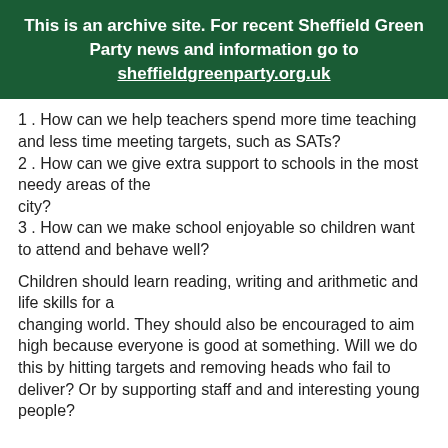This is an archive site. For recent Sheffield Green Party news and information go to sheffieldgreenparty.org.uk
1 . How can we help teachers spend more time teaching and less time meeting targets, such as SATs?
2 . How can we give extra support to schools in the most needy areas of the city?
3 . How can we make school enjoyable so children want to attend and behave well?
Children should learn reading, writing and arithmetic and life skills for a changing world. They should also be encouraged to aim high because everyone is good at something. Will we do this by hitting targets and removing heads who fail to deliver? Or by supporting staff and and interesting young people?